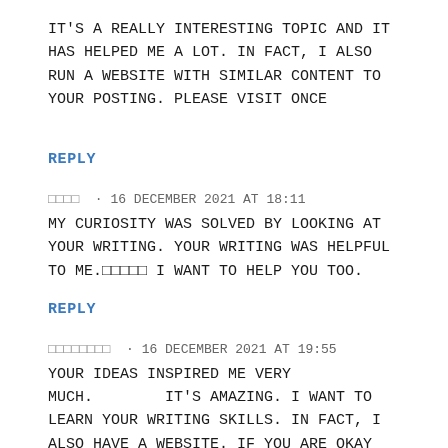It's a really interesting topic and it has helped me a lot. In fact, I also run a website with similar content to your posting. Please visit once
REPLY
□□□□ · 16 December 2021 at 18:11
My curiosity was solved by looking at your writing. Your writing was helpful to me.□□□□□ I want to help you too.
REPLY
□□□□□□□□ · 16 December 2021 at 19:55
Your ideas inspired me very much.       It's amazing. I want to learn your writing skills. In fact, I also have a website. If you are okay please visit once and leave your